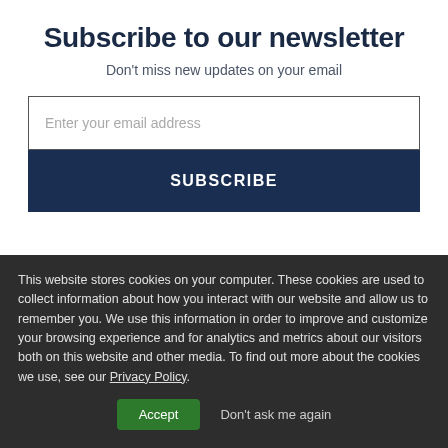Subscribe to our newsletter
Don't miss new updates on your email
[Figure (screenshot): Email input text field with placeholder 'Enter your email address' and a dark navy Subscribe button below it]
This website stores cookies on your computer. These cookies are used to collect information about how you interact with our website and allow us to remember you. We use this information in order to improve and customize your browsing experience and for analytics and metrics about our visitors both on this website and other media. To find out more about the cookies we use, see our Privacy Policy.
Accept
Don't ask me again